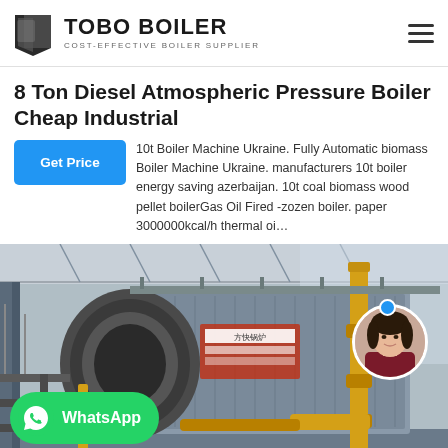TOBO BOILER — COST-EFFECTIVE BOILER SUPPLIER
8 Ton Diesel Atmospheric Pressure Boiler Cheap Industrial
10t Boiler Machine Ukraine. Fully Automatic biomass Boiler Machine Ukraine. manufacturers 10t boiler energy saving azerbaijan. 10t coal biomass wood pellet boilerGas Oil Fired -zozen boiler. paper 3000000kcal/h thermal oi…
[Figure (photo): Industrial boiler equipment in a factory/warehouse setting with yellow piping, metallic insulated boiler body, and structural elements. WhatsApp contact badge overlaid at bottom left. Customer service avatar at right.]